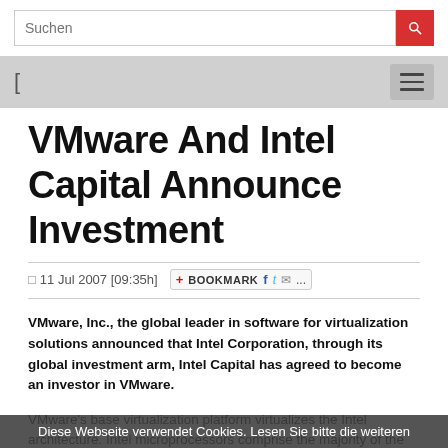Suchen [search bar with red button]
[Figure (screenshot): Navigation bar with left bracket icon and hamburger menu button on grey background]
VMware And Intel Capital Announce Investment
11 Jul 2007 [09:35h] BOOKMARK [social share icons]
VMware, Inc., the global leader in software for virtualization solutions announced that Intel Corporation, through its global investment arm, Intel Capital has agreed to become an investor in VMware.
VMware's base virtualization platform virtualizes the Intel architecture. Intel microprocessors comprise the majority of the systems on which VMware's virtualization products are deployed.
Diese Webseite verwendet Cookies. Lesen Sie bitte die weiteren